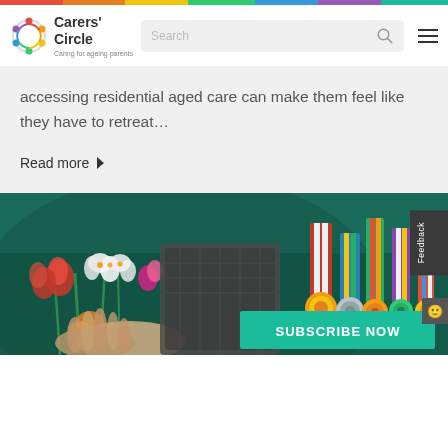[Figure (logo): Carers' Circle logo with colorful circular icon and text 'Carers' Circle - Caring for ageing parents']
accessing residential aged care can make them feel like they have to retreat...
Read more ▶
[Figure (photo): Photo of elderly hands holding flowers (red and white), with colorful medals/ribbons. Subscribe Now button overlay.]